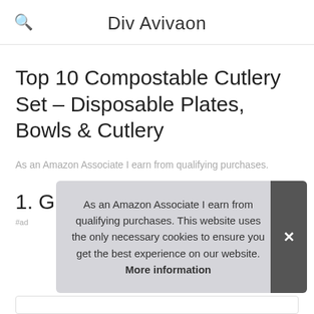Div Avivaon
Top 10 Compostable Cutlery Set – Disposable Plates, Bowls & Cutlery
As an Amazon Associate I earn from qualifying purchases.
1. GreenWorks
#ad
As an Amazon Associate I earn from qualifying purchases. This website uses the only necessary cookies to ensure you get the best experience on our website. More information